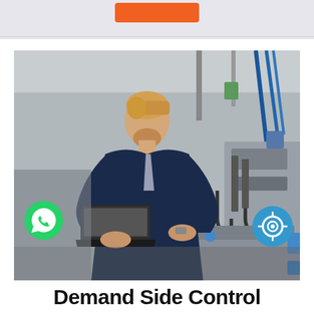[orange button/banner at top]
[Figure (photo): A young blond bearded man in a dark navy blue shirt holding a laptop, working in an industrial or engineering laboratory with machinery and cables in the background]
Demand Side Control